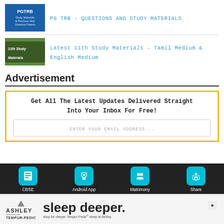[Figure (screenshot): Thumbnail for PGTRB study materials - blue background with white text]
PG TRB - QUESTIONS AND STUDY MATERIALS
[Figure (screenshot): Thumbnail for 11th Study Materials - green background with italic text]
Latest 11th Study Materials - Tamil Medium & English Medium
Advertisement
[Figure (infographic): Yellow-bordered subscription box: Get All The Latest Updates Delivered Straight Into Your Inbox For Free! with email address input field]
[Figure (screenshot): Bottom toolbar with CBSE, Android App, Matrimony, Share icons]
[Figure (screenshot): Ashley / Tempur-Pedic advertisement banner: sleep deeper.]